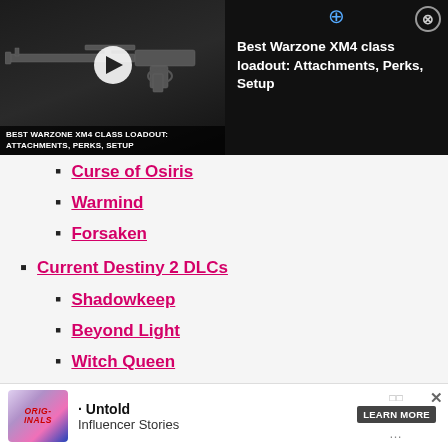[Figure (screenshot): Video ad banner showing Best Warzone XM4 Class Loadout with thumbnail, play button, and title text on dark background with close button]
Curse of Osiris
Warmind
Forsaken
Current Destiny 2 DLCs
Shadowkeep
Beyond Light
Witch Queen
Upcoming Destiny 2 DLCs
Lightfall
T...
[Figure (screenshot): Bottom advertisement banner showing Originals Untold Influencer Stories with Learn More button]